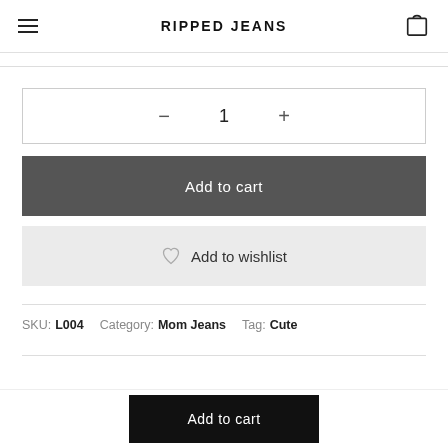RIPPED JEANS
— 1 +
Add to cart
Add to wishlist
SKU: L004   Category: Mom Jeans   Tag: Cute
Add to cart